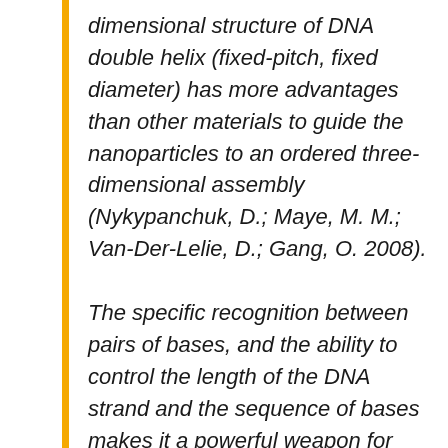dimensional structure of DNA double helix (fixed-pitch, fixed diameter) has more advantages than other materials to guide the nanoparticles to an ordered three-dimensional assembly (Nykypanchuk, D.; Maye, M. M.; Van-Der-Lelie, D.; Gang, O. 2008).

The specific recognition between pairs of bases, and the ability to control the length of the DNA strand and the sequence of bases makes it a powerful weapon for